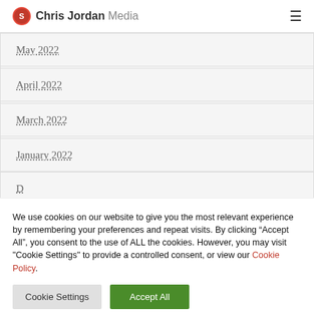Chris Jordan Media
May 2022
April 2022
March 2022
January 2022
We use cookies on our website to give you the most relevant experience by remembering your preferences and repeat visits. By clicking “Accept All”, you consent to the use of ALL the cookies. However, you may visit "Cookie Settings" to provide a controlled consent, or view our Cookie Policy.
Cookie Settings | Accept All